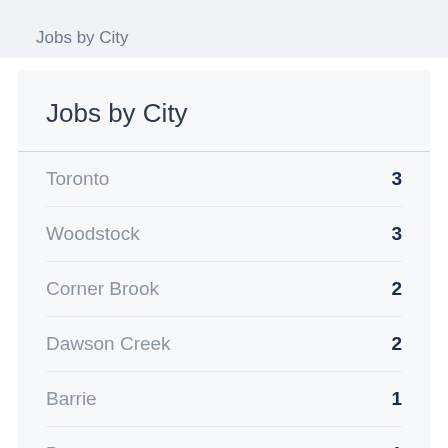Jobs by City
Jobs by City
Toronto 3
Woodstock 3
Corner Brook 2
Dawson Creek 2
Barrie 1
Brampton 1
Burlington 1